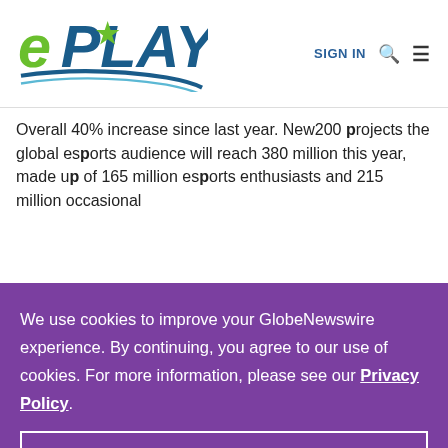[Figure (logo): ePLAY logo with stylized text and swoosh graphic in green and teal/blue]
SIGN IN  🔍  ≡
Overall 40% increase since last year. New200 projects the global esports audience will reach 380 million this year, made up of 165 million esports enthusiasts and 215 million occasional
We use cookies to improve your GlobeNewswire experience. By continuing, you agree to our use of cookies. For more information, please see our Privacy Policy.
ACCEPT